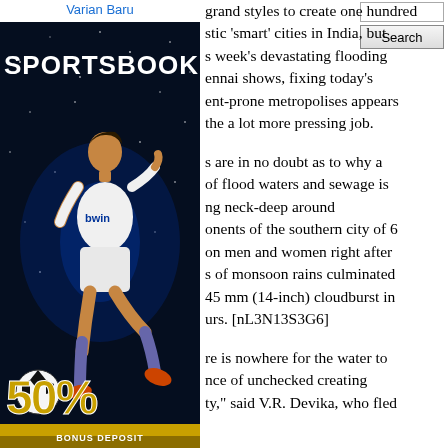[Figure (photo): Varian Baru link text above a sportsbook advertisement image featuring a football player (Cristiano Ronaldo) kicking a ball against a dark starry background, with 'SPORTSBOOK' text at top and '50%' bonus offer at bottom]
Varian Baru
[Figure (screenshot): Search box with input field and Search button in upper right]
grand styles to create one hundred stic ‘smart’ cities in India, but s week’s devastating flooding ennai shows, fixing today’s ent-prone metropolises appears the a lot more pressing job.
s are in no doubt as to why a of flood waters and sewage is ng neck-deep around onents of the southern city of 6 on men and women right after s of monsoon rains culminated 45 mm (14-inch) cloudburst in urs. [nL3N13S3G6]
re is nowhere for the water to nce of unchecked creating ty,” said V.R. Devika, who fled